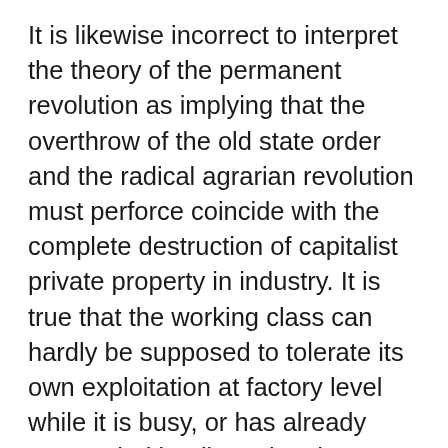It is likewise incorrect to interpret the theory of the permanent revolution as implying that the overthrow of the old state order and the radical agrarian revolution must perforce coincide with the complete destruction of capitalist private property in industry. It is true that the working class can hardly be supposed to tolerate its own exploitation at factory level while it is busy, or has already succeeded in, disarming the capitalists and eliminating their political power. But from this flows only that the victorious socialist revolution in underdeveloped countries w [ACCESSIBILITY badge] making “despotic inroads” into the realm